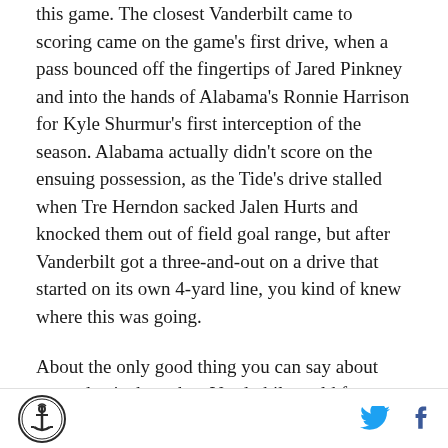this game. The closest Vanderbilt came to scoring came on the game's first drive, when a pass bounced off the fingertips of Jared Pinkney and into the hands of Alabama's Ronnie Harrison for Kyle Shurmur's first interception of the season. Alabama actually didn't score on the ensuing possession, as the Tide's drive stalled when Tre Herndon sacked Jalen Hurts and knocked them out of field goal range, but after Vanderbilt got a three-and-out on a drive that started on its own 4-yard line, you kind of knew where this was going.
About the only good thing you can say about yesterday is that when Vanderbilt could force Jalen Hurts to throw, he wasn't that good at it. The bad news, of
[anchor logo] [twitter icon] [facebook icon]